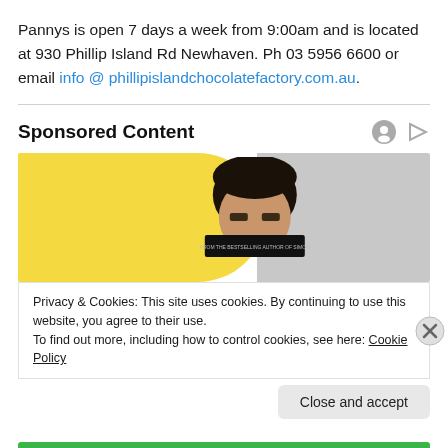Pannys is open 7 days a week from 9:00am and is located at 930 Phillip Island Rd Newhaven. Ph 03 5956 6600 or email info @ phillipislandchocolatefactory.com.au.
Sponsored Content
[Figure (photo): Photo of a person holding a book up to their face against a yellow and grey background, part of a sponsored content advertisement.]
Privacy & Cookies: This site uses cookies. By continuing to use this website, you agree to their use.
To find out more, including how to control cookies, see here: Cookie Policy